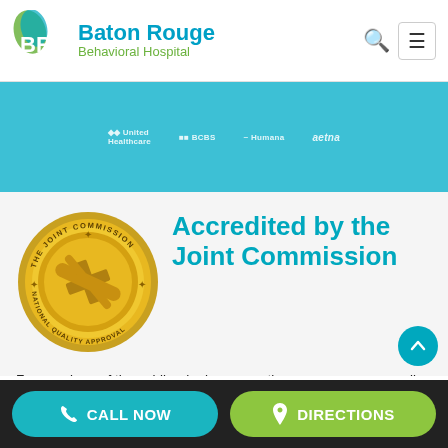[Figure (logo): Baton Rouge Behavioral Hospital logo with green leaf BR icon and teal/green text]
[Figure (infographic): Teal banner with insurance company logos: United Healthcare, BCBS, Humana, Aetna]
[Figure (illustration): The Joint Commission National Quality Approval gold seal badge]
Accredited by the Joint Commission
For members of the public who have questions or concerns regarding patient quality or safety, please contact the hospital's administration at 1-225-240-4041.
[Figure (other): Scroll up arrow button in teal circle]
CALL NOW
DIRECTIONS